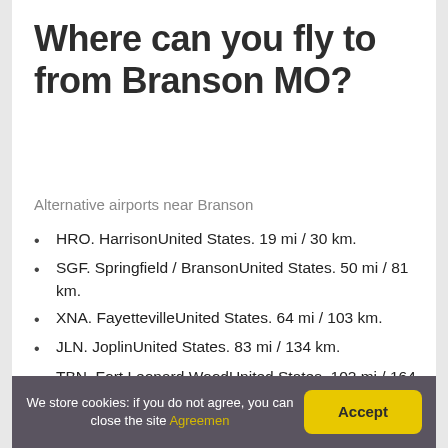Where can you fly to from Branson MO?
Alternative airports near Branson
HRO. HarrisonUnited States. 19 mi / 30 km.
SGF. Springfield / BransonUnited States. 50 mi / 81 km.
XNA. FayettevilleUnited States. 64 mi / 103 km.
JLN. JoplinUnited States. 83 mi / 134 km.
TBN. Fort Leonard WoodUnited States. 102 mi / 164 km.
Where all does
We store cookies: if you do not agree, you can close the site Agreemen